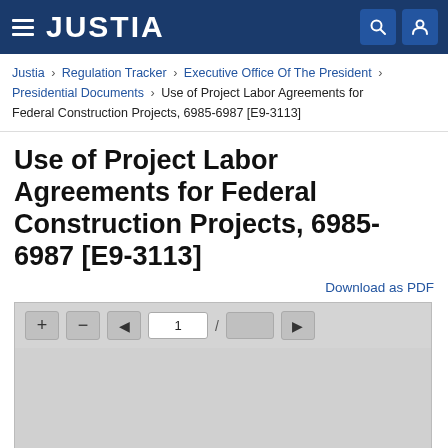JUSTIA
Justia › Regulation Tracker › Executive Office Of The President › Presidential Documents › Use of Project Labor Agreements for Federal Construction Projects, 6985-6987 [E9-3113]
Use of Project Labor Agreements for Federal Construction Projects, 6985-6987 [E9-3113]
Download as PDF
[Figure (screenshot): PDF document viewer toolbar with zoom in (+), zoom out (-), previous page, page number input showing 1, slash separator, total pages, and next page (>) navigation controls. Below is a gray content area representing the PDF document display.]